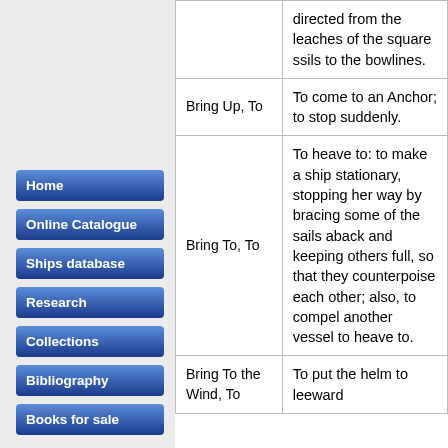| Term | Definition |
| --- | --- |
|  | directed from the leaches of the square ssils to the bowlines. |
| Bring Up, To | To come to an Anchor; to stop suddenly. |
| Bring To, To | To heave to: to make a ship stationary, stopping her way by bracing some of the sails aback and keeping others full, so that they counterpoise each other; also, to compel another vessel to heave to. |
| Bring To the Wind, To | To put the helm to leeward |
Home
Online Catalogue
Ships database
Research
Collections
Bibliography
Books for sale